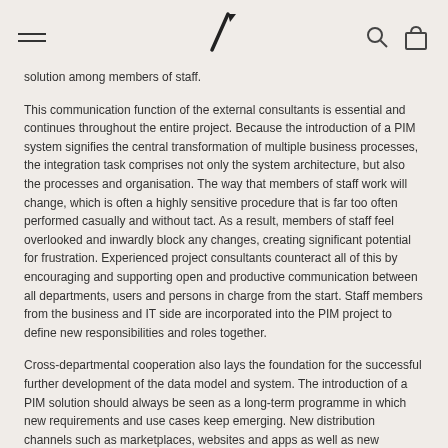/ [logo] [search icon] [bag icon]
solution among members of staff.
This communication function of the external consultants is essential and continues throughout the entire project. Because the introduction of a PIM system signifies the central transformation of multiple business processes, the integration task comprises not only the system architecture, but also the processes and organisation. The way that members of staff work will change, which is often a highly sensitive procedure that is far too often performed casually and without tact. As a result, members of staff feel overlooked and inwardly block any changes, creating significant potential for frustration. Experienced project consultants counteract all of this by encouraging and supporting open and productive communication between all departments, users and persons in charge from the start. Staff members from the business and IT side are incorporated into the PIM project to define new responsibilities and roles together.
Cross-departmental cooperation also lays the foundation for the successful further development of the data model and system. The introduction of a PIM solution should always be seen as a long-term programme in which new requirements and use cases keep emerging. New distribution channels such as marketplaces, websites and apps as well as new suppliers, data pools and market segments continuously change the rules that a data model must represent. A modern PIM system may be able to model this flexibility, yet the organisation and the people in charge must also be able to handle its implementation. Juggling all these tasks at once is a major challenge that most in-house project managers are unable to master alone. They are often caught